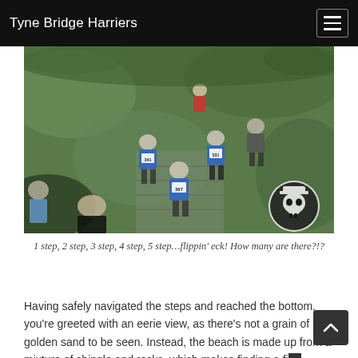Tyne Bridge Harriers
[Figure (photo): Runners descending stone steps through a green, wooded hillside during a trail race. Several runners wearing blue club vests with race numbers are visible. A skull logo watermark appears in the bottom right corner.]
1 step, 2 step, 3 step, 4 step, 5 step…flippin' eck! How many are there?!?
Having safely navigated the steps and reached the bottom, you're greeted with an eerie view, as there's not a grain of golden sand to be seen. Instead, the beach is made up from a mixture of shingle and rocks, which makes finding a firm footing an almost impossible task. The barren landscape is in stark contrast to the views witnessed just moments earlier